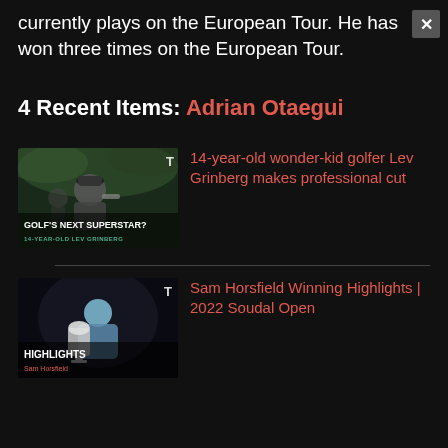currently plays on the European Tour. He has won three times on the European Tour.
4 Recent Items: Adrian Otaegui
[Figure (photo): Thumbnail of young golfer Lev Grinberg with text 'GOLF'S NEXT SUPERSTAR?' and '14-YEAR-OLD LEV GRINBERG']
14-year-old wonder-kid golfer Lev Grinberg makes professional cut
[Figure (photo): Thumbnail of Sam Horsfield holding trophy with text 'HIGHLIGHTS' and 'Sam Horsfield']
Sam Horsfield Winning Highlights | 2022 Soudal Open